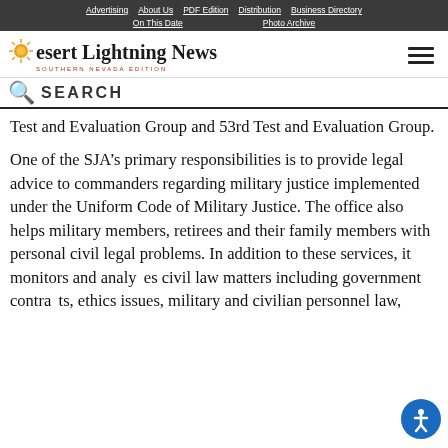Advertising | About Us | PDF Edition | Distribution | Business Directory | On This Date | Photo Archive
[Figure (logo): Desert Lightning News logo with sun graphic and 'Southern Nevada Edition' subtitle]
SEARCH
Test and Evaluation Group and 53rd Test and Evaluation Group.
One of the SJA’s primary responsibilities is to provide legal advice to commanders regarding military justice implemented under the Uniform Code of Military Justice. The office also helps military members, retirees and their family members with personal civil legal problems. In addition to these services, it monitors and analyzes civil law matters including government contracts, ethics issues, military and civilian personnel law,